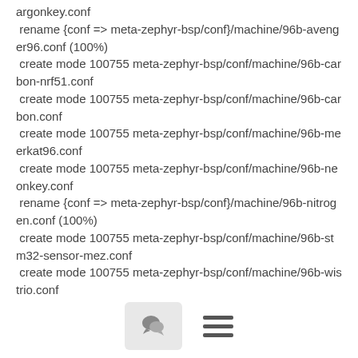argonkey.conf
 rename {conf => meta-zephyr-bsp/conf}/machine/96b-avenger96.conf (100%)
 create mode 100755 meta-zephyr-bsp/conf/machine/96b-carbon-nrf51.conf
 create mode 100755 meta-zephyr-bsp/conf/machine/96b-carbon.conf
 create mode 100755 meta-zephyr-bsp/conf/machine/96b-meerkat96.conf
 create mode 100755 meta-zephyr-bsp/conf/machine/96b-neonkey.conf
 rename {conf => meta-zephyr-bsp/conf}/machine/96b-nitrogen.conf (100%)
 create mode 100755 meta-zephyr-bsp/conf/machine/96b-stm32-sensor-mez.conf
 create mode 100755 meta-zephyr-bsp/conf/machine/96b-wistrio.conf
 create mode 100755 meta-zephyr-bsp/conf/machine/acrn-ehl-crb.conf
[Figure (other): Footer bar with a chat/comment icon button and a hamburger menu icon]